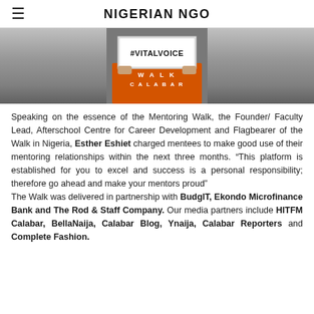NIGERIAN NGO
[Figure (photo): Person in orange shirt holding a white sign reading '#VITALVOICE' with 'WALK CALABAR' text visible on the shirt]
Speaking on the essence of the Mentoring Walk, the Founder/ Faculty Lead, Afterschool Centre for Career Development and Flagbearer of the Walk in Nigeria, Esther Eshiet charged mentees to make good use of their mentoring relationships within the next three months. “This platform is established for you to excel and success is a personal responsibility; therefore go ahead and make your mentors proud” The Walk was delivered in partnership with BudgIT, Ekondo Microfinance Bank and The Rod & Staff Company. Our media partners include HITFM Calabar, BellaNaija, Calabar Blog, Ynaija, Calabar Reporters and Complete Fashion.